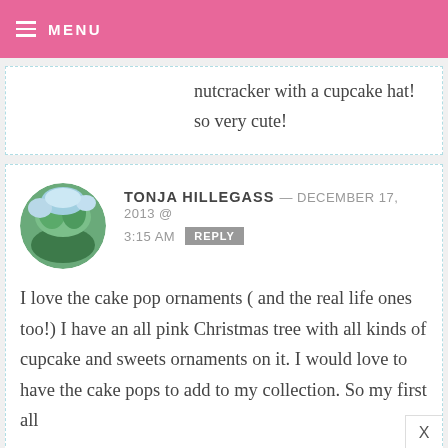MENU
nutcracker with a cupcake hat! so very cute!
TONJA HILLEGASS — DECEMBER 17, 2013 @ 3:15 AM REPLY
I love the cake pop ornaments ( and the real life ones too!) I have an all pink Christmas tree with all kinds of cupcake and sweets ornaments on it. I would love to have the cake pops to add to my collection. So my first all